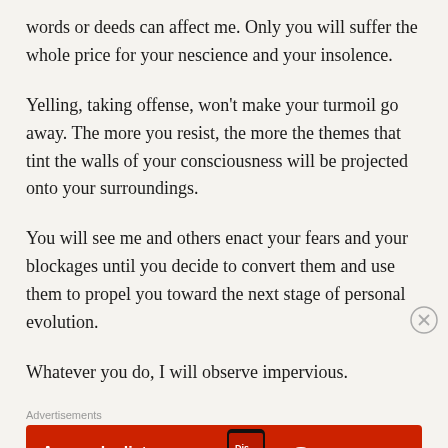words or deeds can affect me. Only you will suffer the whole price for your nescience and your insolence.
Yelling, taking offense, won't make your turmoil go away. The more you resist, the more the themes that tint the walls of your consciousness will be projected onto your surroundings.
You will see me and others enact your fears and your blockages until you decide to convert them and use them to propel you toward the next stage of personal evolution.
Whatever you do, I will observe impervious.
[Figure (other): Advertisement banner for Pocket Casts app with red background, text 'An app by listeners, for listeners.' and Pocket Casts logo with phone image]